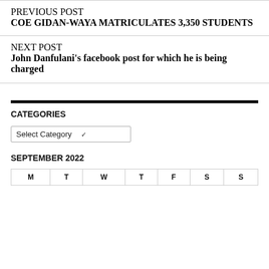PREVIOUS POST
COE GIDAN-WAYA MATRICULATES 3,350 STUDENTS
NEXT POST
John Danfulani's facebook post for which he is being charged
CATEGORIES
Select Category
SEPTEMBER 2022
| M | T | W | T | F | S | S |
| --- | --- | --- | --- | --- | --- | --- |